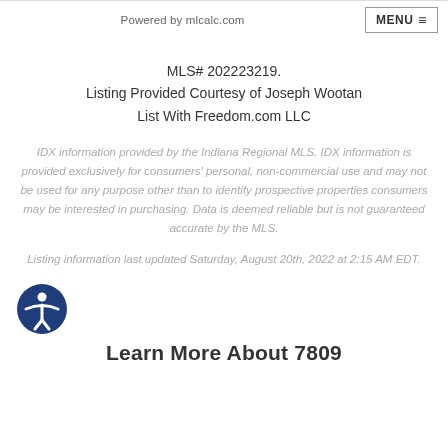Powered by mlcalc.com
MLS# 202223219.
Listing Provided Courtesy of Joseph Wootan
List With Freedom.com LLC
IDX information provided by the Indiana Regional MLS. IDX information is provided exclusively for consumers' personal, non-commercial use and may not be used for any purpose other than to identify prospective properties consumers may be interested in purchasing. Data is deemed reliable but is not guaranteed accurate by the MLS.
Listing information last updated Saturday, August 20th, 2022 at 2:15 AM EDT.
[Figure (illustration): Accessibility icon: circular dark blue badge with white figure of a person with arms outstretched]
Learn More About 7809